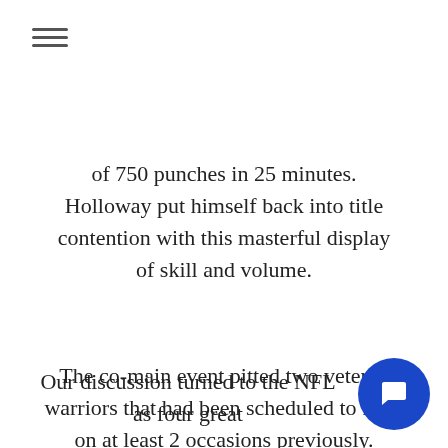≡
of 750 punches in 25 minutes. Holloway put himself back into title contention with this masterful display of skill and volume.
The co-main event pitted two veteran warriors that had been scheduled to fight on at least 2 occasions previously. Carlos"The Natural Born Killer" Condit was able to win a decision over Matt "The Immortal" Brown. It was a highly entertaining war that made everyone wish that the earlier matchups between the two had happened in the past. This was a very anticipated card after a three week hiatus through the holidays. It was a great night of fights from Abu Dhabi.
Our discussion turned to the NFL as four great